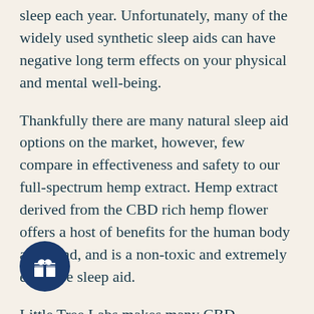sleep each year. Unfortunately, many of the widely used synthetic sleep aids can have negative long term effects on your physical and mental well-being.
Thankfully there are many natural sleep aid options on the market, however, few compare in effectiveness and safety to our full-spectrum hemp extract. Hemp extract derived from the CBD rich hemp flower offers a host of benefits for the human body and mind, and is a non-toxic and extremely effective sleep aid.
Little Tree Labs makes many CBD products, including our popular tinctures made from the whole hemp flower extract which contains a host of beneficial compounds found within the hemp
[Figure (illustration): Circular dark blue button with a white gift box icon]